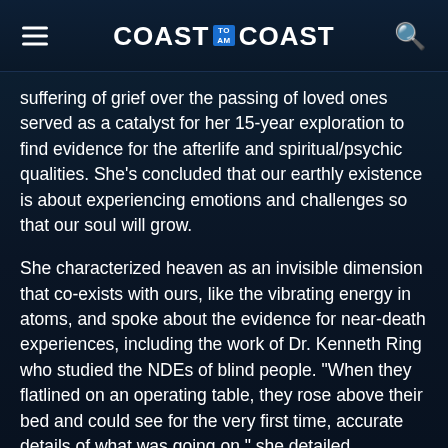COAST TO COAST AM
suffering of grief over the passing of loved ones served as a catalyst for her 15-year exploration to find evidence for the afterlife and spiritual/psychic qualities. She's concluded that our earthly existence is about experiencing emotions and challenges so that our soul will grow.
She characterized heaven as an invisible dimension that co-exists with ours, like the vibrating energy in atoms, and spoke about the evidence for near-death experiences, including the work of Dr. Kenneth Ring who studied the NDEs of blind people. "When they flatlined on an operating table, they rose above their bed and could see for the very first time, accurate details of what was going on," she detailed. Champlain also shared her personal experiences with mediumship, electronic voice phenomena, and remote viewing. For more, check out this video preview for the